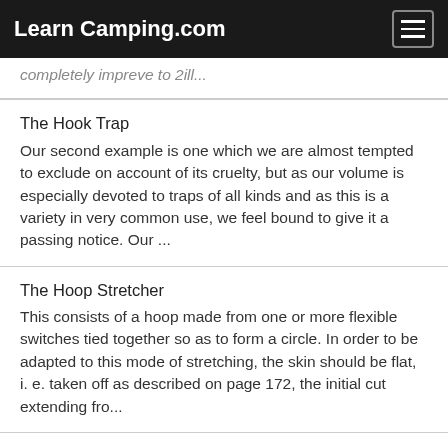LearnCamping.com
completely impreve to 2ill...
The Hook Trap
Our second example is one which we are almost tempted to exclude on account of its cruelty, but as our volume is especially devoted to traps of all kinds and as this is a variety in very common use, we feel bound to give it a passing notice. Our ...
The Hoop Stretcher
This consists of a hoop made from one or more flexible switches tied together so as to form a circle. In order to be adapted to this mode of stretching, the skin should be flat, i. e. taken off as described on page 172, the initial cut extending fro...
The Humming Bird Trap
One of the most ingenious uses to which bird lime is applied has been applied with great success in the...